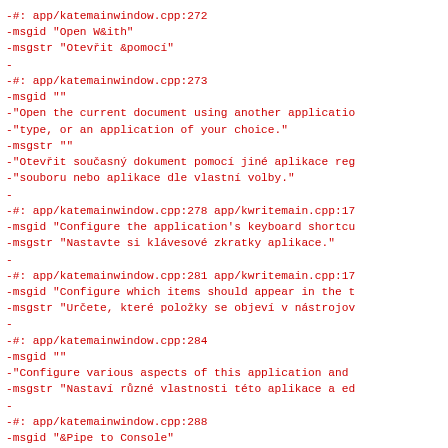-#: app/katemainwindow.cpp:272
-msgid "Open W&ith"
-msgstr "Otevřit &pomocí"
-
-#: app/katemainwindow.cpp:273
-msgid ""
-"Open the current document using another applicatio
-"type, or an application of your choice."
-msgstr ""
-"Otevřit současný dokument pomocí jiné aplikace reg
-"souboru nebo aplikace dle vlastní volby."
-
-#: app/katemainwindow.cpp:278 app/kwritemain.cpp:17
-msgid "Configure the application's keyboard shortcu
-msgstr "Nastavte si klávesové zkratky aplikace."
-
-#: app/katemainwindow.cpp:281 app/kwritemain.cpp:17
-msgid "Configure which items should appear in the t
-msgstr "Určete, které položky se objeví v nástrojov
-
-#: app/katemainwindow.cpp:284
-msgid ""
-"Configure various aspects of this application and
-msgstr "Nastaví různé vlastnosti této aplikace a ed
-
-#: app/katemainwindow.cpp:288
-msgid "&Pipe to Console"
-msgstr "&Předat do konzole"
-
-#: app/katemainwindow.cpp:291